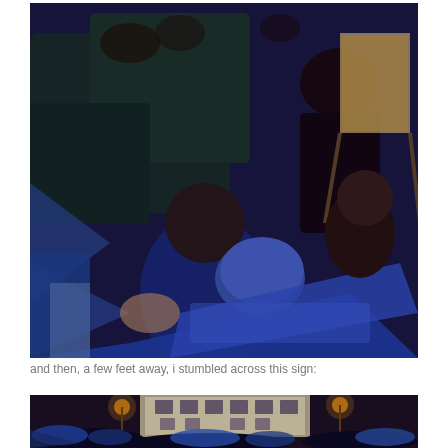[Figure (photo): Nighttime outdoor protest or rally scene. People sitting on the ground near bushes, a person wearing a blue helmet, others looking at large printed signs or posters. An easel with artwork visible in the background. Blue-toned low-light photography.]
and then, a few feet away, i stumbled across this sign:
[Figure (photo): Nighttime outdoor scene showing a crowd of people, many with blue umbrellas or rain gear, gathered in front of an illuminated white building. Warm orange street lights visible. Protest or gathering atmosphere.]